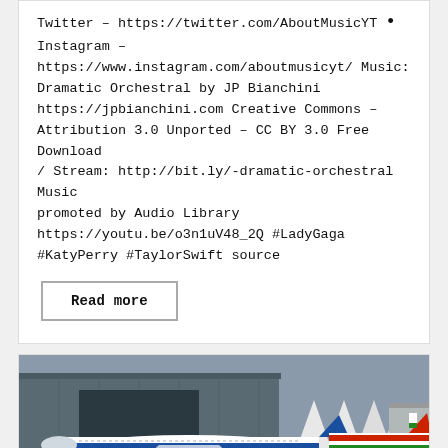Twitter – https://twitter.com/AboutMusicYT • Instagram – https://www.instagram.com/aboutmusicyt/ Music: Dramatic Orchestral by JP Bianchini https://jpbianchini.com Creative Commons – Attribution 3.0 Unported – CC BY 3.0 Free Download / Stream: http://bit.ly/-dramatic-orchestral Music promoted by Audio Library https://youtu.be/o3n1uV48_2Q #LadyGaga #KatyPerry #TaylorSwift source
Read more
[Figure (photo): Photo of airplanes on a tarmac near an airport hangar. Visible is an IndiGo airline aircraft (blue and white livery with 'IndiGo' logo) and another aircraft with red, white, and green livery (possibly Air India or similar). Background shows a large industrial hangar building and white tent structures.]